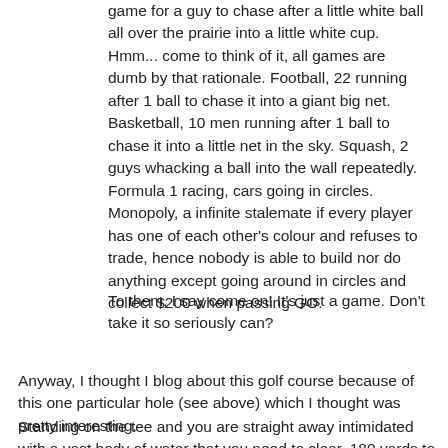game for a guy to chase after a little white ball all over the prairie into a little white cup. Hmm... come to think of it, all games are dumb by that rationale. Football, 22 running after 1 ball to chase it into a giant big net. Basketball, 10 men running after 1 ball to chase it into a little net in the sky. Squash, 2 guys whacking a ball into the wall repeatedly. Formula 1 racing, cars going in circles. Monopoly, a infinite stalemate if every player has one of each other's colour and refuses to trade, hence nobody is able to build nor do anything except going around in circles and collect $200 when passing GO.
To them, I say come on! It's just a game. Don't take it so seriously can?
Anyway, I thought I blog about this golf course because of this one particular hole (see above) which I thought was pretty interesting.
Standing on the tee and you are straight away intimidated with a vast body of water that you need to clear. 180 yards to clear. In theory, it shouldn't be a problem considering my